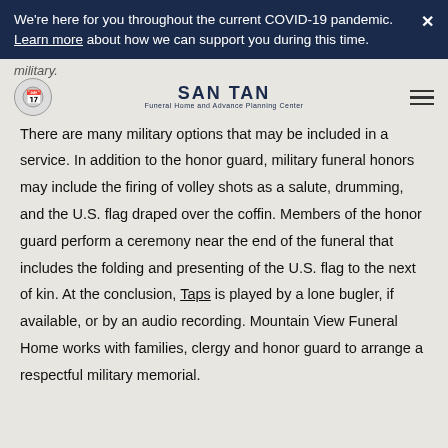We're here for you throughout the current COVID-19 pandemic. Learn more about how we can support you during this time.
military.
[Figure (logo): San Tan Funeral Home and Advance Planning Center logo with circular icon and hamburger menu]
There are many military options that may be included in a service. In addition to the honor guard, military funeral honors may include the firing of volley shots as a salute, drumming, and the U.S. flag draped over the coffin. Members of the honor guard perform a ceremony near the end of the funeral that includes the folding and presenting of the U.S. flag to the next of kin. At the conclusion, Taps is played by a lone bugler, if available, or by an audio recording. Mountain View Funeral Home works with families, clergy and honor guard to arrange a respectful military memorial.